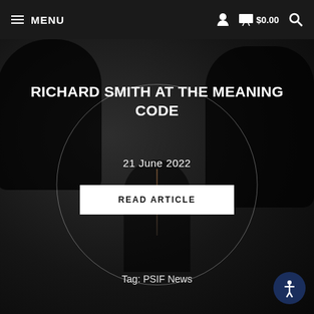≡ MENU   🧑  🛒 $0.00  🔍
[Figure (photo): Dark background with blurred silhouettes of people, circular overlay border, and vertical gradient line in center]
RICHARD SMITH AT THE MEANING CODE
21 June 2022
READ ARTICLE
Tag: PSIF News